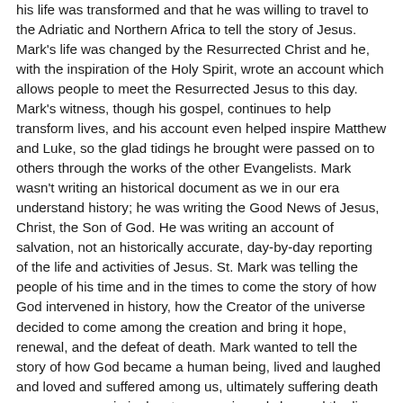his life was transformed and that he was willing to travel to the Adriatic and Northern Africa to tell the story of Jesus. Mark's life was changed by the Resurrected Christ and he, with the inspiration of the Holy Spirit, wrote an account which allows people to meet the Resurrected Jesus to this day. Mark's witness, though his gospel, continues to help transform lives, and his account even helped inspire Matthew and Luke, so the glad tidings he brought were passed on to others through the works of the other Evangelists. Mark wasn't writing an historical document as we in our era understand history; he was writing the Good News of Jesus, Christ, the Son of God. He was writing an account of salvation, not an historically accurate, day-by-day reporting of the life and activities of Jesus. St. Mark was telling the people of his time and in the times to come the story of how God intervened in history, how the Creator of the universe decided to come among the creation and bring it hope, renewal, and the defeat of death. Mark wanted to tell the story of how God became a human being, lived and laughed and loved and suffered among us, ultimately suffering death as a common criminal, yet rose again and changed the lives of those who believed.